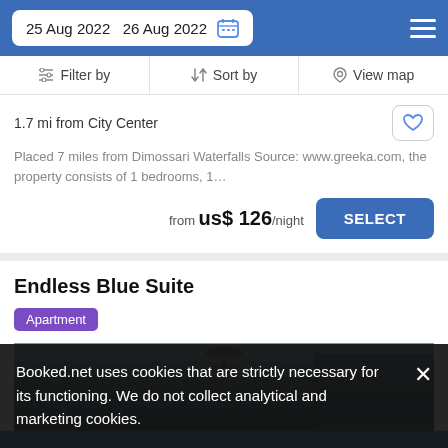25 Aug 2022  26 Aug 2022
Filter by  Sort by  View map
1.7 mi from City Center
Placed 7 miles from Dimossari Waterfalls Source: www.greeka.com, the property consists of 1 bedrooms, 1…
from us$ 126/night
Endless Blue Suite
Apartment
[Figure (photo): Interior room photo showing ceiling and chandelier in dark tones]
Booked.net uses cookies that are strictly necessary for its functioning. We do not collect analytical and marketing cookies.